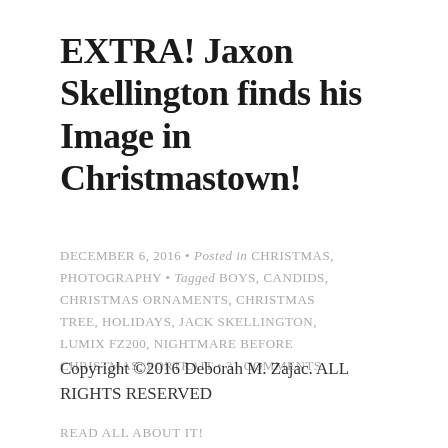EXTRA! Jaxon Skellington finds his Image in Christmastown!
DECEMBER 6, 2016 • Posted in CHRISTMAS, PHOTOGRAPHY • Tagged BOYS, CANDIDS, CHRISTMAS ORNAMENTS, CHRISTMAS TREE, HOLIDAYS, JACK SKELLINGTON, LUMIX FZ200, NIGHTMARE BEFORE CHRISTMAS, PORTRAIT • 31 COMMENTS
Copyright ©2016 Deborah M. Zajac. ALL RIGHTS RESERVED
READ ALL ABOUT IT!